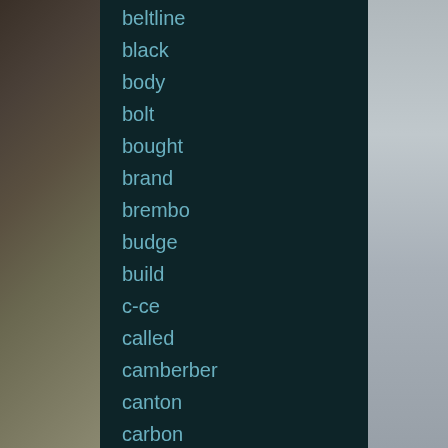beltline
black
body
bolt
bought
brand
brembo
budge
build
c-ce
called
camberber
canton
carbon
center
champ
checking
chevrolet
chevy